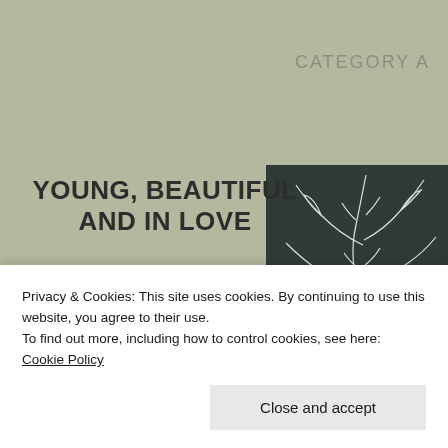CATEGORY A
YOUNG, BEAUTIFUL AND IN LOVE
All eyes were on them. Men and women alike, With that look of envy… The anticipation of love Is so attractive…. They were young, Beautiful, And in love.
[Figure (illustration): Dark teal panel with white botanical line art illustration of a plant stem with leaves]
Privacy & Cookies: This site uses cookies. By continuing to use this website, you agree to their use.
To find out more, including how to control cookies, see here: Cookie Policy
Close and accept